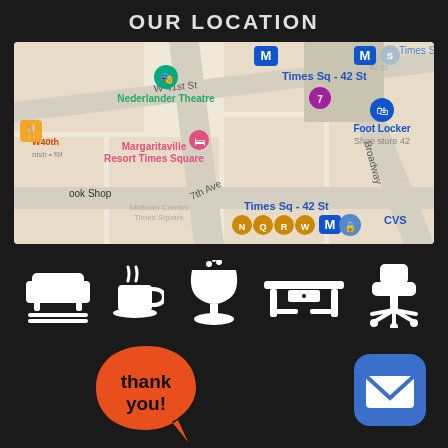OUR LOCATION
[Figure (map): Google Maps screenshot showing Times Square area in New York City, with landmarks including Nederlander Theatre, Margaritaville Resort Times Square, Foot Locker, CVS, and subway stations (Times Sq - 42 St) with lines N, Q, R, W, M, 7. Streets visible include W 41st St, 7th Ave, Broadway.]
[Figure (infographic): Row of five white icons on dark background representing amenities: sofa/lounge seating, coffee cup, water fountain/chalice, desk/table, office chair on wheels.]
[Figure (infographic): Orange speech bubble with 'thank you!' text, and a blue rounded square mail/envelope button.]